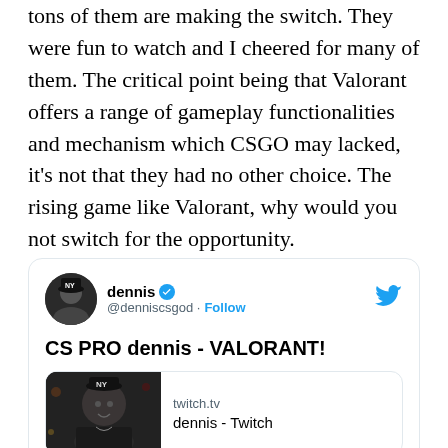tons of them are making the switch. They were fun to watch and I cheered for many of them. The critical point being that Valorant offers a range of gameplay functionalities and mechanism which CSGO may lacked, it's not that they had no other choice. The rising game like Valorant, why would you not switch for the opportunity.
[Figure (screenshot): A Twitter/X post by @denniscsgod (dennis) with blue verified checkmark, text 'CS PRO dennis - VALORANT!', a Twitch link preview showing dennis's face and 'twitch.tv / dennis - Twitch', timestamped 8:43 AM · Apr 8, 2020]